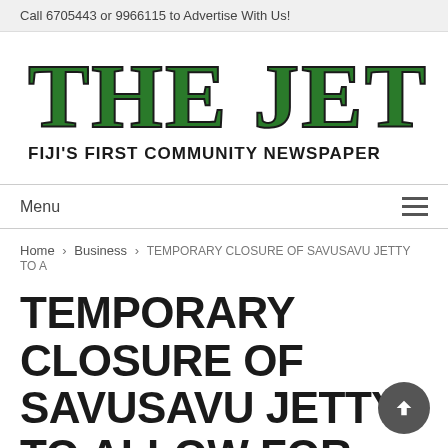Call 6705443 or 9966115 to Advertise With Us!
[Figure (logo): The Jet newspaper logo — large green bold serif text 'THE JET' with black outline, subtitle 'FIJI'S FIRST COMMUNITY NEWSPAPER' in black sans-serif]
Menu
Home › Business › TEMPORARY CLOSURE OF SAVUSAVU JETTY TO A
TEMPORARY CLOSURE OF SAVUSAVU JETTY TO ALLOW FOR